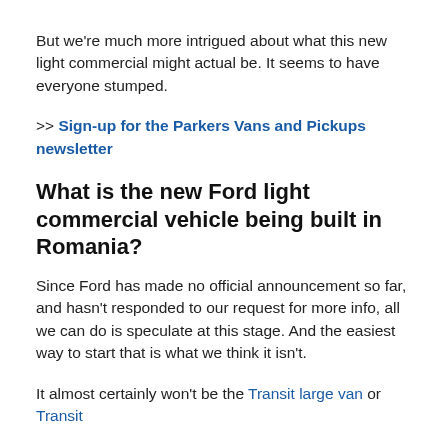But we're much more intrigued about what this new light commercial might actual be. It seems to have everyone stumped.
>> Sign-up for the Parkers Vans and Pickups newsletter
What is the new Ford light commercial vehicle being built in Romania?
Since Ford has made no official announcement so far, and hasn't responded to our request for more info, all we can do is speculate at this stage. And the easiest way to start that is what we think it isn't.
It almost certainly won't be the Transit large van or Transit